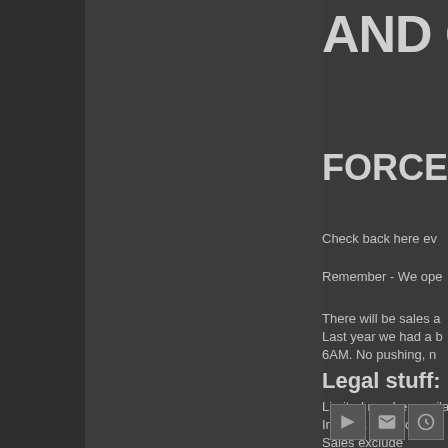AND GE
FORCE OF
Check back here ev
Remember - We ope
There will be sales a Last year we had a b 6AM. No pushing, n
Legal stuff:
Limited number available.
In stock items only.
Sales exclude product rece
Sales exclude any product
Discounts do not stack.